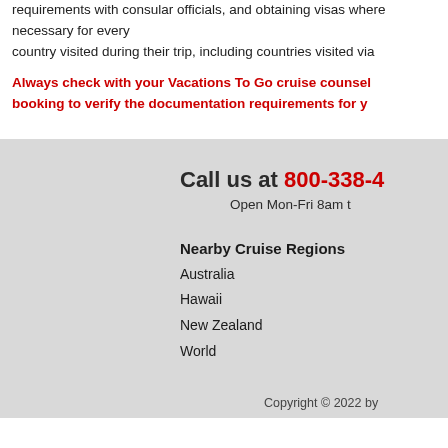requirements with consular officials, and obtaining visas where necessary for every country visited during their trip, including countries visited via
Always check with your Vacations To Go cruise counselor before booking to verify the documentation requirements for your cruise.
Call us at 800-338-4
Open Mon-Fri 8am t
Nearby Cruise Regions
Australia
Hawaii
New Zealand
World
Copyright © 2022 by